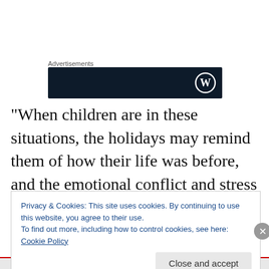[Figure (other): Advertisements banner with dark background and WordPress logo]
“When children are in these situations, the holidays may remind them of how their life was before, and the emotional conflict and stress can ruin their time,” said Poppe, who is part of the Metro Extension District.
Poppe provided the following tips to help children navigate
Privacy & Cookies: This site uses cookies. By continuing to use this website, you agree to their use.
To find out more, including how to control cookies, see here: Cookie Policy